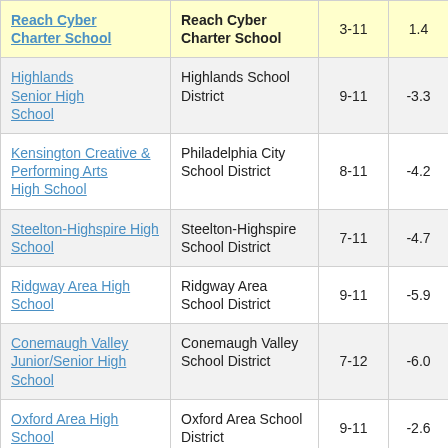| School | District | Grades | Score |  |
| --- | --- | --- | --- | --- |
| Reach Cyber Charter School | Reach Cyber Charter School | 3-11 | 1.4 | 3 |
| Highlands Senior High School | Highlands School District | 9-11 | -3.3 |  |
| Kensington Creative & Performing Arts High School | Philadelphia City School District | 8-11 | -4.2 |  |
| Steelton-Highspire High School | Steelton-Highspire School District | 7-11 | -4.7 |  |
| Ridgway Area High School | Ridgway Area School District | 9-11 | -5.9 |  |
| Conemaugh Valley Junior/Senior High School | Conemaugh Valley School District | 7-12 | -6.0 |  |
| Oxford Area High School | Oxford Area School District | 9-11 | -2.6 |  |